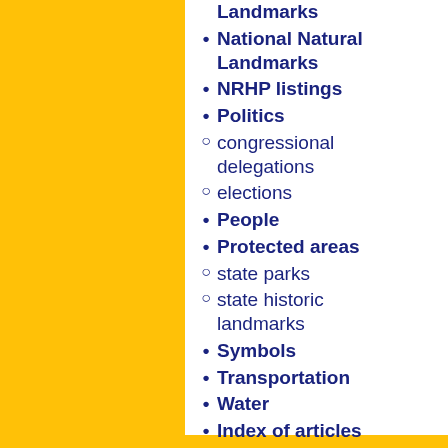National Historic Landmarks
National Natural Landmarks
NRHP listings
Politics
congressional delegations
elections
People
Protected areas
state parks
state historic landmarks
Symbols
Transportation
Water
Index of articles